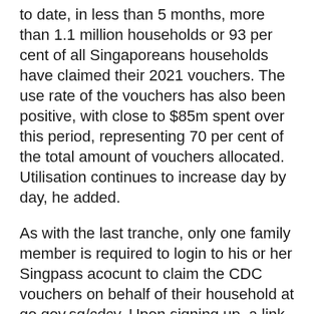to date, in less than 5 months, more than 1.1 million households or 93 per cent of all Singaporeans households have claimed their 2021 vouchers. The use rate of the vouchers has also been positive, with close to $85m spent over this period, representing 70 per cent of the total amount of vouchers allocated. Utilisation continues to increase day by day, he added.
As with the last tranche, only one family member is required to login to his or her Singpass acocunt to claim the CDC vouchers on behalf of their household at go.gov.sg/cdcv. Upon signing up, a link for the CDC vouchers will be sent to the registered mobile phone number of the claimant, who can share the vouchers with other household members via the same link.
Singaporeans may also eventually be able to donate their CDC vouchers to charities and philanthropic...